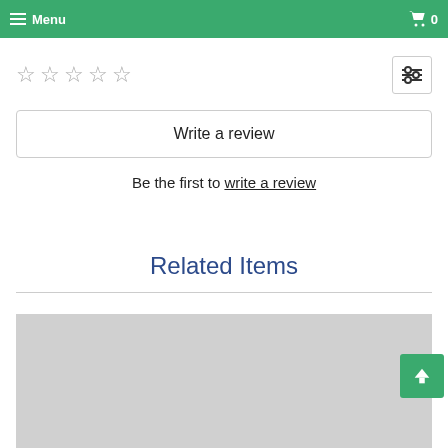Menu | Cart 0
[Figure (other): Five empty star rating icons and a filter/settings icon button]
Write a review
Be the first to write a review
Related Items
[Figure (photo): Gray placeholder image for a related product]